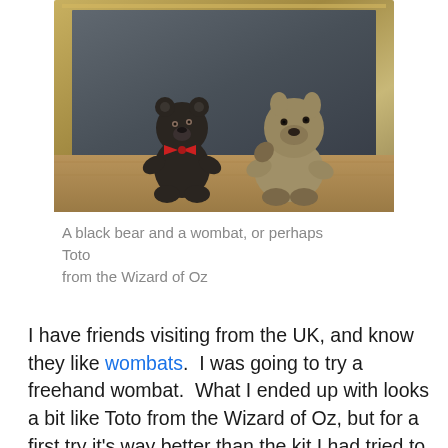[Figure (photo): Two small stuffed/knitted animal figurines sitting in front of a gold ornate picture frame on a wooden surface. The left figurine is a dark black bear with a red bow tie. The right figurine is a lighter tan/grey wombat-like animal in a sitting pose.]
A black bear and a wombat, or perhaps Toto from the Wizard of Oz
I have friends visiting from the UK, and know they like wombats.  I was going to try a freehand wombat.  What I ended up with looks a bit like Toto from the Wizard of Oz, but for a first try it's way better than the kit I had tried to use.  Then I made a black bear, as my friends also were